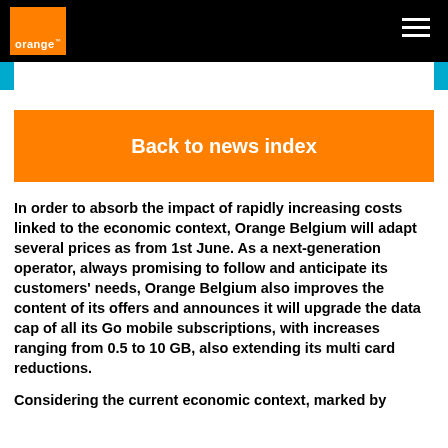orange
Back to news index
In order to absorb the impact of rapidly increasing costs linked to the economic context, Orange Belgium will adapt several prices as from 1st June. As a next-generation operator, always promising to follow and anticipate its customers' needs, Orange Belgium also improves the content of its offers and announces it will upgrade the data cap of all its Go mobile subscriptions, with increases ranging from 0.5 to 10 GB, also extending its multi card reductions.
Considering the current economic context, marked by